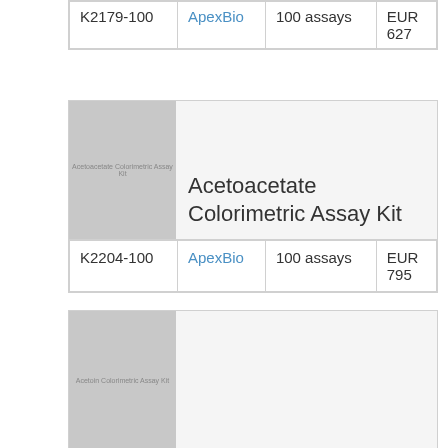| ID | Supplier | Quantity | Price |
| --- | --- | --- | --- |
| K2179-100 | ApexBio | 100 assays | EUR 627 |
[Figure (photo): Acetoacetate Colorimetric Assay Kit product image placeholder]
Acetoacetate Colorimetric Assay Kit
| ID | Supplier | Quantity | Price |
| --- | --- | --- | --- |
| K2204-100 | ApexBio | 100 assays | EUR 795 |
[Figure (photo): Acetoin Colorimetric Assay Kit product image placeholder]